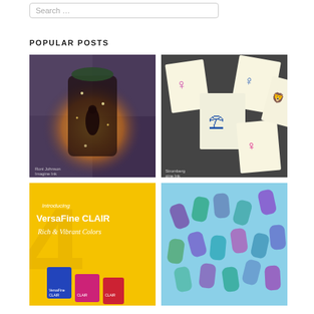Search …
POPULAR POSTS
[Figure (photo): Illuminated lantern craft with fairy silhouette and floral decorations, glowing warmly. Credit: Roni Johnson / Imagine Ink.]
[Figure (photo): Multiple small stamped cards featuring colored illustrations of women with umbrellas and animals on dark background. Credit: Stromberg / Imagine Ink.]
[Figure (photo): VersaFine CLAIR advertisement with yellow background: 'Introducing VersaFine CLAIR Rich & Vibrant Colors' with ink pad products shown.]
[Figure (photo): Collection of small purple, teal and blue metallic ink or paint bottles scattered on a light blue background.]